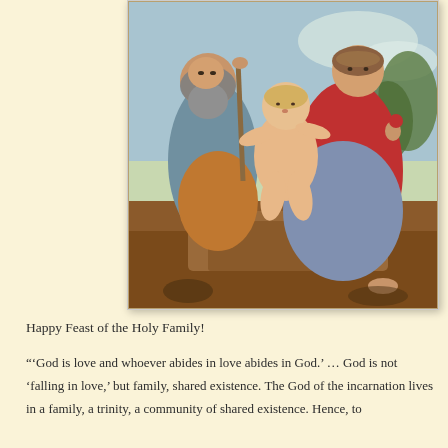[Figure (illustration): A Renaissance-style painting of the Holy Family: an older bearded man (Joseph) on the left holding a staff, a nude infant (Jesus) in the center, and a woman in red (Mary) on the right, all seated outdoors against a landscape background with trees and sky.]
Happy Feast of the Holy Family!
"'God is love and whoever abides in love abides in God.' … God is not 'falling in love,' but family, shared existence. The God of the incarnation lives in a family, a trinity, a community of shared existence. Hence, to